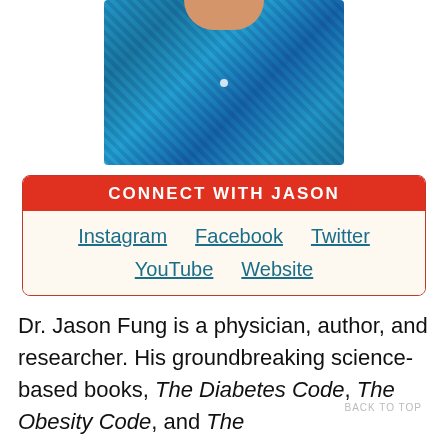[Figure (photo): Headshot photo of Dr. Jason Fung wearing a blue plaid/checkered shirt, cropped at upper torso]
CONNECT WITH JASON
Instagram  Facebook  Twitter  YouTube  Website
Dr. Jason Fung is a physician, author, and researcher. His groundbreaking science-based books, The Diabetes Code, The Obesity Code, and The
BACK TO TOP